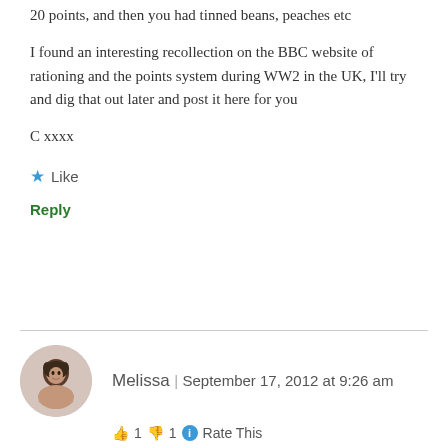20 points, and then you had tinned beans, peaches etc
I found an interesting recollection on the BBC website of rationing and the points system during WW2 in the UK, I'll try and dig that out later and post it here for you
C xxxx
★ Like
Reply
Melissa | September 17, 2012 at 9:26 am
👍 1 👎 1 ℹ Rate This
I LOVE the 1940's which let me to fall upon this blog (which is amazing I have to say, I am stealing some of your recipes to use myself!) but in contrary to you, I'm trying to GAIN weight. I've never been above 112lbs